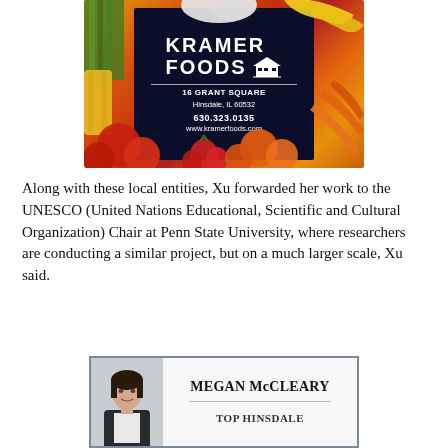[Figure (other): Kramer Foods advertisement with colorful vegetable/fruit background. Dark navy center panel shows 'KRAMER FOODS' logo with house/building icon, address '16 GRANT SQUARE, Hinsdale, IL 60532', phone '630.323.0135', website 'www.kramerfoods.com']
Along with these local entities, Xu forwarded her work to the UNESCO (United Nations Educational, Scientific and Cultural Organization) Chair at Penn State University, where researchers are conducting a similar project, but on a much larger scale, Xu said.
[Figure (other): Advertisement for Megan McCleary with photo of a woman on the left side and text 'MEGAN McCLEARY' and 'TOP HINSDALE' on the right side. Gray border frame.]